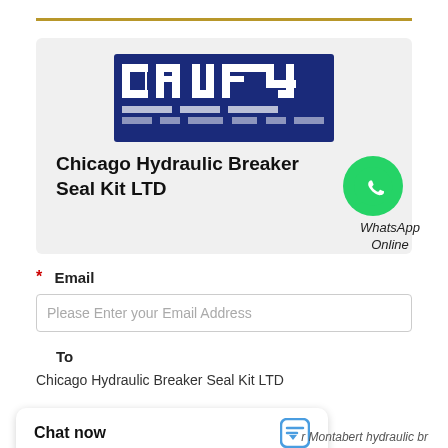[Figure (logo): Company logo with Arabic/stylized text on blue background for Chicago Hydraulic Breaker Seal Kit LTD]
Chicago Hydraulic Breaker Seal Kit LTD
[Figure (logo): WhatsApp green phone icon with label 'WhatsApp Online']
* Email
Please Enter your Email Address
To
Chicago Hydraulic Breaker Seal Kit LTD
Chat now
r Montabert hydraulic br